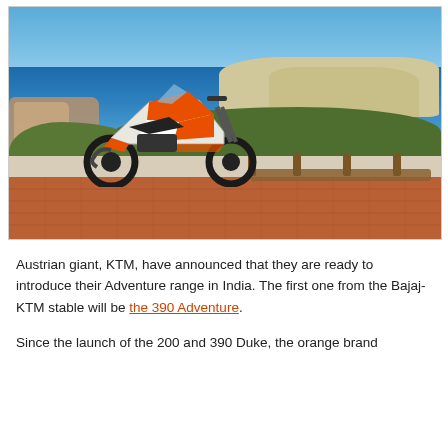[Figure (photo): A KTM adventure motorcycle (white, orange and black) parked on a terracotta tile terrace overlooking a scenic coastal landscape with blue sea, islands in the distance, green hills, and clear blue sky.]
Austrian giant, KTM, have announced that they are ready to introduce their Adventure range in India. The first one from the Bajaj-KTM stable will be the 390 Adventure.
Since the launch of the 200 and 390 Duke, the orange brand